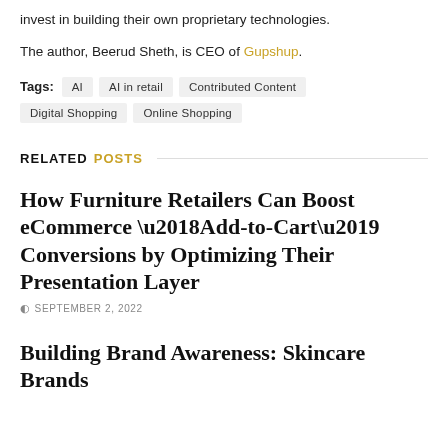invest in building their own proprietary technologies.
The author, Beerud Sheth, is CEO of Gupshup.
Tags: AI  AI in retail  Contributed Content  Digital Shopping  Online Shopping
RELATED POSTS
How Furniture Retailers Can Boost eCommerce ‘Add-to-Cart’ Conversions by Optimizing Their Presentation Layer
SEPTEMBER 2, 2022
Building Brand Awareness: Skincare Brands